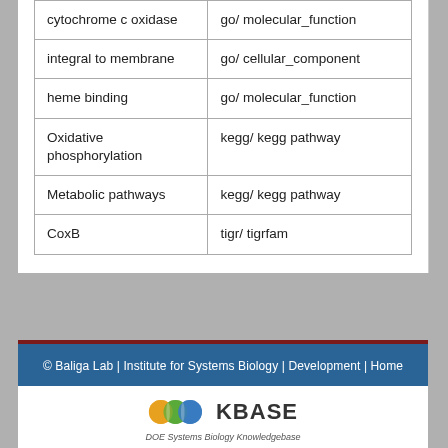| cytochrome c oxidase | go/ molecular_function |
| integral to membrane | go/ cellular_component |
| heme binding | go/ molecular_function |
| Oxidative phosphorylation | kegg/ kegg pathway |
| Metabolic pathways | kegg/ kegg pathway |
| CoxB | tigr/ tigrfam |
© Baliga Lab | Institute for Systems Biology | Development | Home
[Figure (logo): KBase DOE Systems Biology Knowledgebase logo with colored circles]